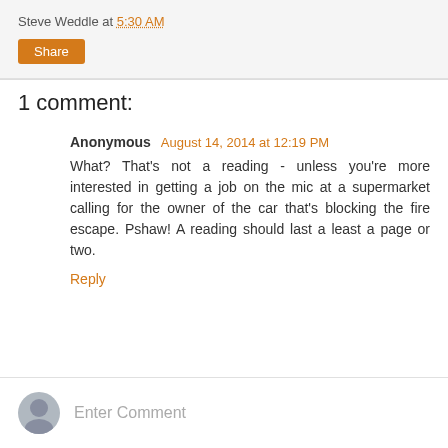Steve Weddle at 5:30 AM
Share
1 comment:
Anonymous August 14, 2014 at 12:19 PM
What? That's not a reading - unless you're more interested in getting a job on the mic at a supermarket calling for the owner of the car that's blocking the fire escape. Pshaw! A reading should last a least a page or two.
Reply
Enter Comment